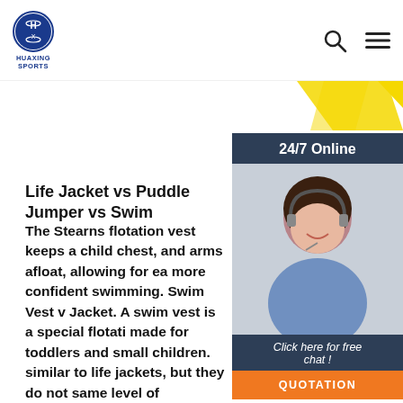HUAXING SPORTS
[Figure (illustration): Yellow diagonal shapes/stripes in upper right area]
[Figure (photo): 24/7 Online chat widget with woman wearing headset, dark blue background, orange QUOTATION button]
Life Jacket vs Puddle Jumper vs Swim
The Stearns flotation vest keeps a child chest, and arms afloat, allowing for ea more confident swimming. Swim Vest v Jacket. A swim vest is a special flotati made for toddlers and small children. similar to life jackets, but they do not same level of protection.
[Figure (illustration): Orange Get Price button]
[Figure (illustration): Orange TOP icon with dotted arrow pointing up at bottom right]